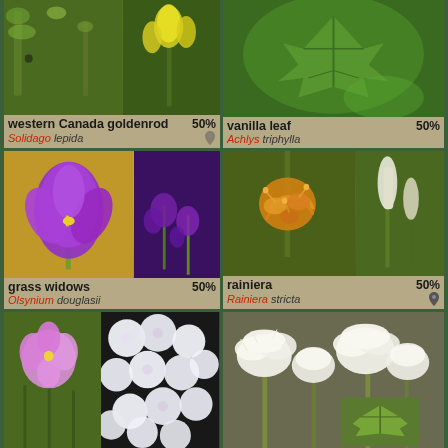[Figure (photo): Plant identification grid showing 6 plant species with photos and labels. Row 1: western Canada goldenrod (Solidago lepida) 50%, vanilla leaf (Achlys triphylla) 50%. Row 2: grass widows (Olsynium douglasii) 50%, rainiera (Rainiera stricta) 50%. Row 3: phlox species (photos), and white fluffy flower cluster species (partially visible).]
western Canada goldenrod
Solidago lepida
50%
vanilla leaf
Achlys triphylla
50%
grass widows
Olsynium douglasii
50%
rainiera
Rainiera stricta
50%